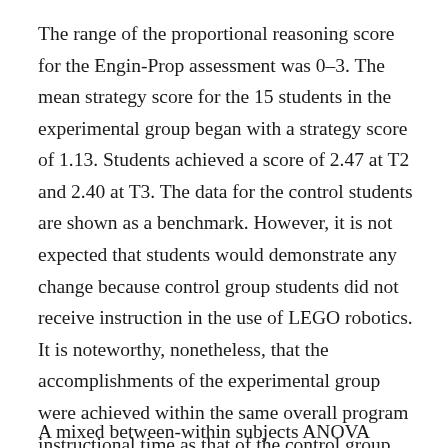The range of the proportional reasoning score for the Engin-Prop assessment was 0–3. The mean strategy score for the 15 students in the experimental group began with a strategy score of 1.13. Students achieved a score of 2.47 at T2 and 2.40 at T3. The data for the control students are shown as a benchmark. However, it is not expected that students would demonstrate any change because control group students did not receive instruction in the use of LEGO robotics. It is noteworthy, nonetheless, that the accomplishments of the experimental group were achieved within the same overall program instructional time as that of the control group.
A mixed between-within subjects ANOVA